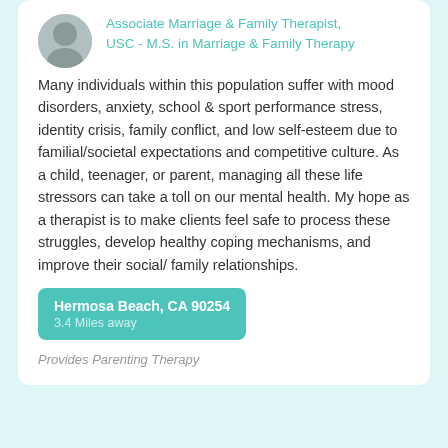Associate Marriage & Family Therapist, USC - M.S. in Marriage & Family Therapy
Many individuals within this population suffer with mood disorders, anxiety, school & sport performance stress, identity crisis, family conflict, and low self-esteem due to familial/societal expectations and competitive culture. As a child, teenager, or parent, managing all these life stressors can take a toll on our mental health. My hope as a therapist is to make clients feel safe to process these struggles, develop healthy coping mechanisms, and improve their social/ family relationships.
Hermosa Beach, CA 90254
3.4 Miles away
Provides Parenting Therapy